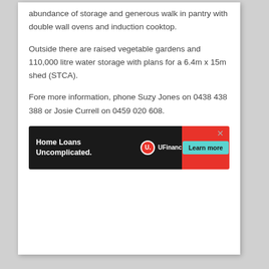abundance of storage and generous walk in pantry with double wall ovens and induction cooktop.
Outside there are raised vegetable gardens and 110,000 litre water storage with plans for a 6.4m x 15m shed (STCA).
Fore more information, phone Suzy Jones on 0438 438 388 or Josie Currell on 0459 020 608.
[Figure (other): Advertisement banner for UFinancial Home Loans with 'Home Loans Uncomplicated.' text on black background, UFinancial logo in center, red diagonal section, and cyan 'Learn more' button. Close X in top right.]